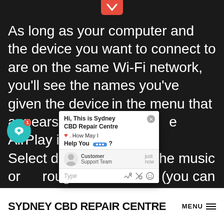As long as your computer and the device you want to connect to are on the same Wi-Fi network, you'll see the names you've given the device in the menu that appears when you click the AirPlay icon. Select the device you want the music or audio to come through in this menu (you can select more than one device at the same time). Then begin playing music or video and you'll hear it playing through the device you selected.
[Figure (screenshot): A live chat popup from Sydney CBD Repair Centre showing a greeting message 'Hi, This is Sydney CBD Repair Centre. How May I Help You?' with a Customer Support Team agent icon and a text input area. A teal chat bubble button with notification badge is in the bottom left.]
SYDNEY CBD REPAIR CENTRE MENU